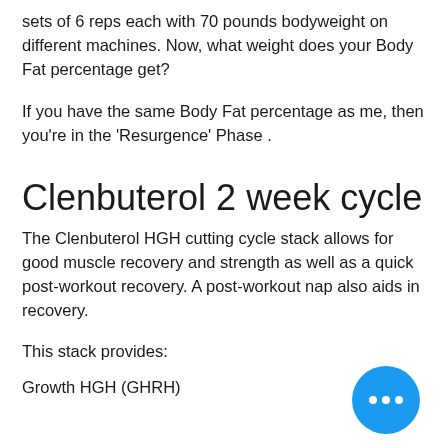sets of 6 reps each with 70 pounds bodyweight on different machines. Now, what weight does your Body Fat percentage get?
If you have the same Body Fat percentage as me, then you're in the 'Resurgence' Phase .
Clenbuterol 2 week cycle
The Clenbuterol HGH cutting cycle stack allows for good muscle recovery and strength as well as a quick post-workout recovery. A post-workout nap also aids in recovery.
This stack provides:
Growth HGH (GHRH)